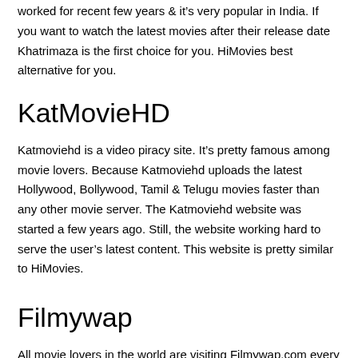worked for recent few years & it's very popular in India. If you want to watch the latest movies after their release date Khatrimaza is the first choice for you. HiMovies best alternative for you.
KatMovieHD
Katmoviehd is a video piracy site. It's pretty famous among movie lovers. Because Katmoviehd uploads the latest Hollywood, Bollywood, Tamil & Telugu movies faster than any other movie server. The Katmoviehd website was started a few years ago. Still, the website working hard to serve the user's latest content. This website is pretty similar to HiMovies.
Filmywap
All movie lovers in the world are visiting Filmywap.com every day. Maximum people love to watch Filmywap Hollywood Movies but